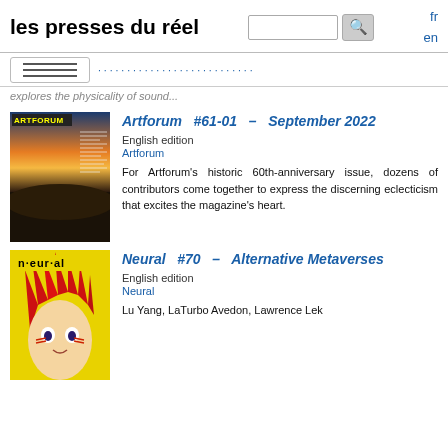les presses du réel
explores the physicality of sound...
Artforum #61-01 – September 2022
English edition
Artforum
For Artforum's historic 60th-anniversary issue, dozens of contributors come together to express the discerning eclecticism that excites the magazine's heart.
Neural #70 – Alternative Metaverses
English edition
Neural
Lu Yang, LaTurbo Avedon, Lawrence Lek